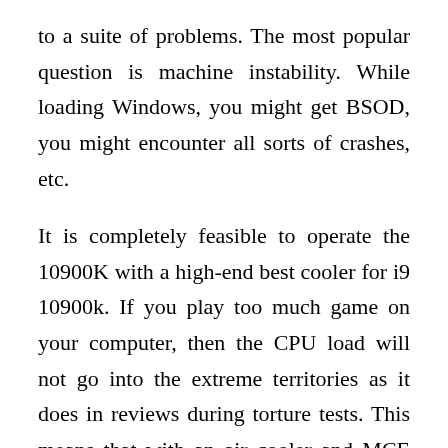to a suite of problems. The most popular question is machine instability. While loading Windows, you might get BSOD, you might encounter all sorts of crashes, etc.
It is completely feasible to operate the 10900K with a high-end best cooler for i9 10900k. If you play too much game on your computer, then the CPU load will not go into the extreme territories as it does in reviews during torture tests. This means that with an air cooler and MCE switched on, you should be okay with running the 10900K. It's safer to get an AIO